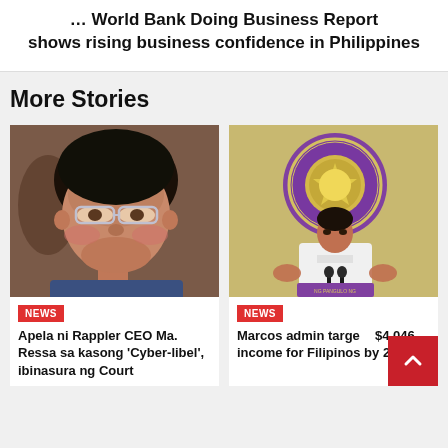… World Bank Doing Business Report shows rising business confidence in Philippines
More Stories
[Figure (photo): Close-up photo of a woman with glasses, appears to be Ma. Ressa]
NEWS
Apela ni Rappler CEO Ma. Ressa sa kasong 'Cyber-libel', ibinasura ng Court
[Figure (photo): Photo of Marcos at podium with official presidential seal in the background]
NEWS
Marcos admin targets $4,046 income for Filipinos by 2028